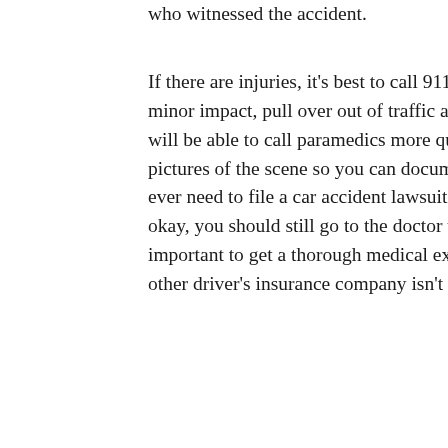who witnessed the accident.
If there are injuries, it's best to call 911 immediately. If there is a minor impact, pull over out of traffic and call 9-1-1. The operator will be able to call paramedics more quickly. Make sure to take pictures of the scene so you can document the scene in case you ever need to file a car accident lawsuit. Even if you think you're okay, you should still go to the doctor within a few days. It's important to get a thorough medical examination, especially if the other driver's insurance company isn't